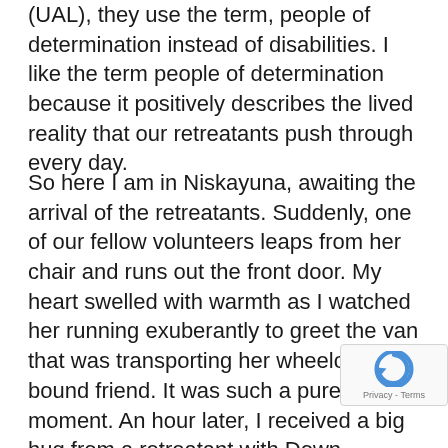(UAL), they use the term, people of determination instead of disabilities. I like the term people of determination because it positively describes the lived reality that our retreatants push through every day.
So here I am in Niskayuna, awaiting the arrival of the retreatants. Suddenly, one of our fellow volunteers leaps from her chair and runs out the front door. My heart swelled with warmth as I watched her running exuberantly to greet the van that was transporting her wheelchair-bound friend. It was such a pure, holy moment. An hour later, I received a big hug from a retreatant with Down syndrome whom I had never met before. Her parents explained that she was excited to return to this retreat after a two- year hiatus due to the COVID-19 pandemic. During the weekend, this retreatant would give spontaneous hugs to ot… It was always heartwarming and something about